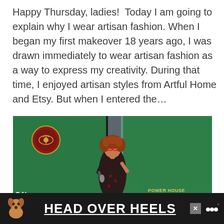Happy Thursday, ladies!  Today I am going to explain why I wear artisan fashion. When I began my first makeover 18 years ago, I was drawn immediately to wear artisan fashion as a way to express my creativity. During that time, I enjoyed artisan styles from Artful Home and Etsy. But when I entered the…
[Figure (photo): A woman with curly red hair and glasses speaking into a microphone at an event, standing in front of green banners including a US Marine Corps emblem banner. Text 'ON' visible on left banner, 'POWER HOUSE' text on right banner.]
[Figure (infographic): Advertisement banner with dark background showing a dog illustration on the left, bold white underlined text 'HEAD OVER HEELS' in the center, an X close button, and a streaming service logo on the right.]